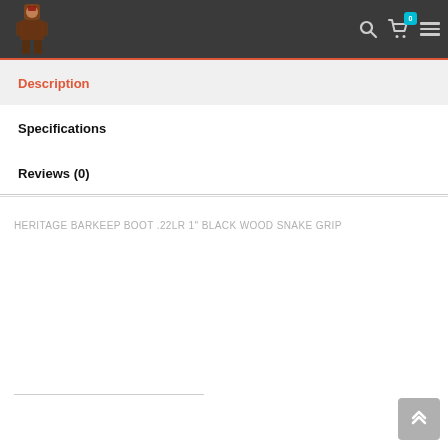Header navigation bar with logo, search icon, cart (0), and menu
Description
Specifications
Reviews (0)
HERITAGE BARKEEP BOOT .22LR 1" BLACK WOOD SNAKE GRIP